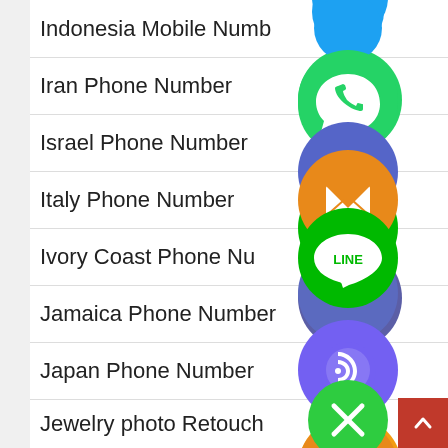Indonesia Mobile Number
Iran Phone Number
Israel Phone Number
Italy Phone Number
Ivory Coast Phone Number
Jamaica Phone Number
Japan Phone Number
Jewelry photo Retouching Service
[Figure (infographic): Floating social media / contact app icons overlaid on the list: WhatsApp (green), phone/Viber (blue-purple), envelope/email (orange), LINE (green), Viber (purple), close/X (green), and a partial blue icon at top. Plus a red scroll-to-top button at bottom right.]